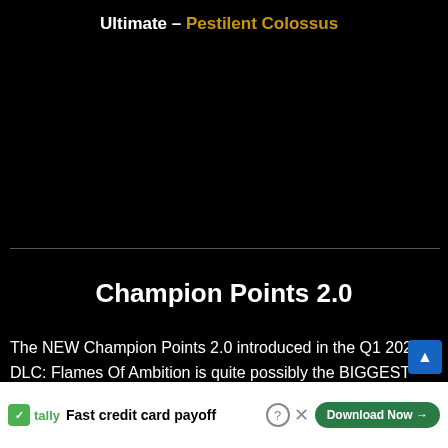Ultimate – Pestilent Colossus
Champion Points 2.0
The NEW Champion Points 2.0 introduced in the Q1 2021 DLC: Flames Of Ambition is quite possibly the BIGGEST change/addition to The Elder Scrolls Online since One Tamriel! And these were expanded with the Blackwood Chapter, giving us more options! Let's check out some of the essentials and… slotables!
[Figure (screenshot): Video player overlay showing Grand Theft Auto 6 - Everything We Know, with MW (MullMaxx/MeriStation) logo, play button, and pink/red text overlaid on a city scene with palm trees.]
[Figure (screenshot): Advertisement banner for Tally app - Fast credit card payoff - with Download Now button and close/question buttons.]